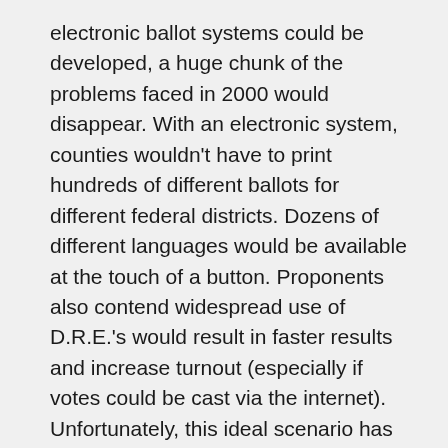electronic ballot systems could be developed, a huge chunk of the problems faced in 2000 would disappear. With an electronic system, counties wouldn't have to print hundreds of different ballots for different federal districts. Dozens of different languages would be available at the touch of a button. Proponents also contend widespread use of D.R.E.'s would result in faster results and increase turnout (especially if votes could be cast via the internet). Unfortunately, this ideal scenario has yet to be realized. States are finding mixed results on just getting the systems to work, much less be secure. Florida Governor Jeb Bush was forced to call a state of emergency extending the voting session during the 2001 gubernatorial elections an extra two hours because of problems booting up the systems.
Studying electronic voting machines and the software